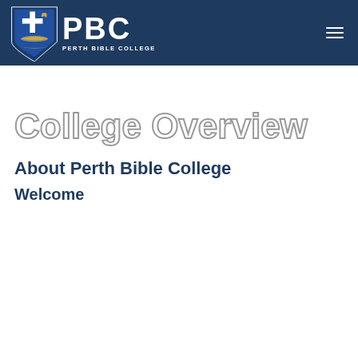PBC PERTH BIBLE COLLEGE
College Overview
About Perth Bible College
Welcome